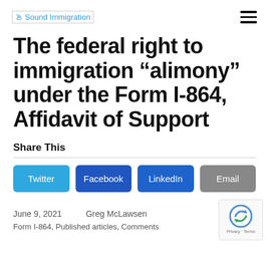Sound Immigration
The federal right to immigration “alimony” under the Form I-864, Affidavit of Support
Share This
[Figure (other): Social share buttons: Twitter, Facebook, LinkedIn, Email]
June 9, 2021   Greg McLawsen
Form I-864, Published articles, Comments